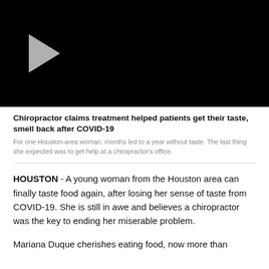[Figure (screenshot): Black video player thumbnail with a gray play button arrow in the upper left area]
Chiropractor claims treatment helped patients get their taste, smell back after COVID-19
For one Houston-area woman, months led to a year without taste. The last thing she expected was to get help at a chiropractor's office.
HOUSTON - A young woman from the Houston area can finally taste food again, after losing her sense of taste from COVID-19. She is still in awe and believes a chiropractor was the key to ending her miserable problem.
Mariana Duque cherishes eating food, now more than